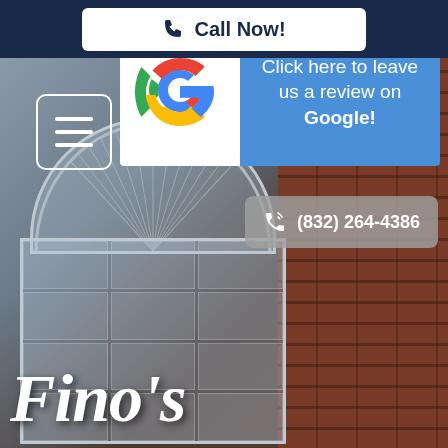Call Now!
[Figure (screenshot): Google review banner with Google G logo and text: Click here to leave us a review on Google!]
[Figure (photo): Background photo of a house exterior with arched window and brick wall]
(832) 264-4386
Fino's